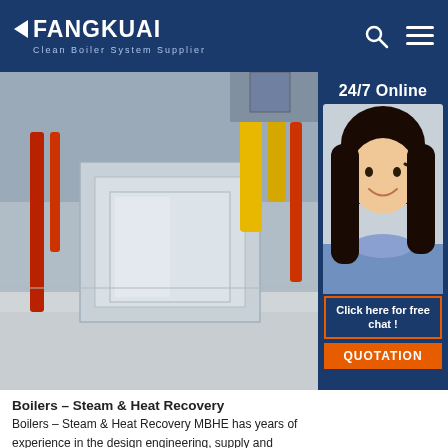FANGKUAI - Clean Boiler System Supplier
[Figure (photo): Industrial boiler room with metal equipment, pipes, yellow and red pipes visible in background]
[Figure (photo): 24/7 Online customer service agent (woman with headset) with chat button and QUOTATION button]
Boilers – Steam & Heat Recovery
Boilers – Steam & Heat Recovery MBHE has years of experience in the design engineering, supply and installation of Water Tube Boilers for Industrial and Power Station applications. The boilers offered, are for medium to high pressure applications with superheated temperatures up to ...
[Figure (other): Get Price orange button]
[Figure (other): TOP navigation icon in orange]